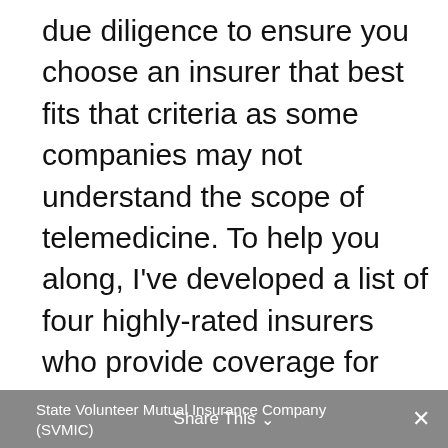due diligence to ensure you choose an insurer that best fits that criteria as some companies may not understand the scope of telemedicine. To help you along, I've developed a list of four highly-rated insurers who provide coverage for telemedicine medical malpractice for doctors.
State Volunteer Mutual Insurance Company (SVMIC)   Share This ⌄   ✕